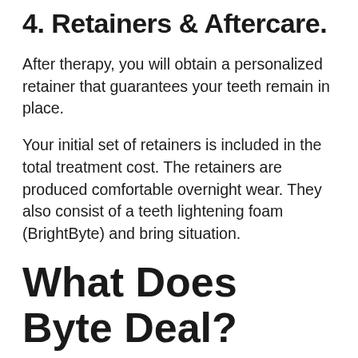4. Retainers & Aftercare.
After therapy, you will obtain a personalized retainer that guarantees your teeth remain in place.
Your initial set of retainers is included in the total treatment cost. The retainers are produced comfortable overnight wear. They also consist of a teeth lightening foam (BrightByte) and bring situation.
What Does Byte Deal?
Byte provides two therapy choices to fit your requirements, together with the trademarked